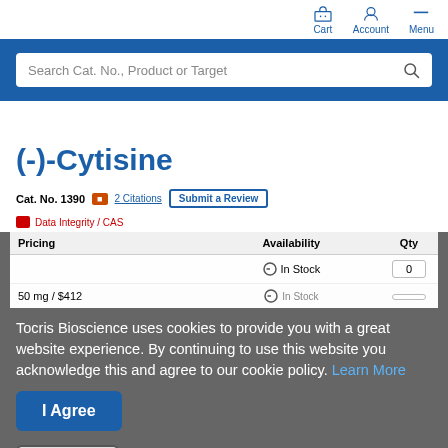Cart  Account  Menu
[Figure (screenshot): Search bar with placeholder text 'Search Cat. No., Product or Target' on a blue background header]
(-)-Cytisine
Cat. No. 1390  2 Citations  Submit a Review
Tocris Bioscience uses cookies to provide you with a great website experience. By continuing to use this website you acknowledge this and agree to our cookie policy. Learn More
I Agree
| Pricing | Availability | Qty |
| --- | --- | --- |
|  | In Stock | 0 |
| 50 mg / $412 | In Stock | 0 |
Print Quote
Chat now